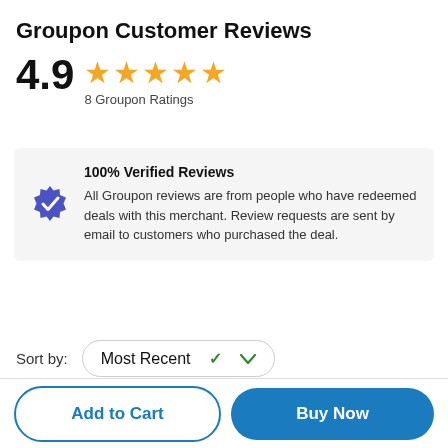Groupon Customer Reviews
4.9 ★★★★★ 8 Groupon Ratings
100% Verified Reviews
All Groupon reviews are from people who have redeemed deals with this merchant. Review requests are sent by email to customers who purchased the deal.
Sort by: Most Recent
Add to Cart
Buy Now